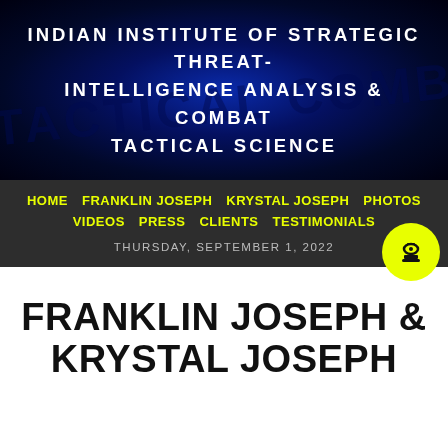INDIAN INSTITUTE OF STRATEGIC THREAT-INTELLIGENCE ANALYSIS & COMBAT TACTICAL SCIENCE
HOME  FRANKLIN JOSEPH  KRYSTAL JOSEPH  PHOTOS  VIDEOS  PRESS  CLIENTS  TESTIMONIALS
THURSDAY, SEPTEMBER 1, 2022
FRANKLIN JOSEPH & KRYSTAL JOSEPH